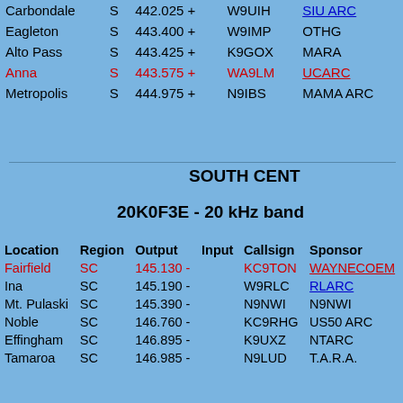| Location | Region | Output | Callsign | Sponsor |
| --- | --- | --- | --- | --- |
| Carbondale | S | 442.025 + | W9UIH | SIU ARC |
| Eagleton | S | 443.400 + | W9IMP | OTHG |
| Alto Pass | S | 443.425 + | K9GOX | MARA |
| Anna | S | 443.575 + | WA9LM | UCARC |
| Metropolis | S | 444.975 + | N9IBS | MAMA ARC |
SOUTH CENT
20K0F3E - 20 kHz band
| Location | Region | Output | Input | Callsign | Sponsor |
| --- | --- | --- | --- | --- | --- |
| Fairfield | SC | 145.130 - |  | KC9TON | WAYNECOEM |
| Ina | SC | 145.190 - |  | W9RLC | RLARC |
| Mt. Pulaski | SC | 145.390 - |  | N9NWI | N9NWI |
| Noble | SC | 146.760 - |  | KC9RHG | US50 ARC |
| Effingham | SC | 146.895 - |  | K9UXZ | NTARC |
| Tamaroa | SC | 146.985 - |  | N9LUD | T.A.R.A. |